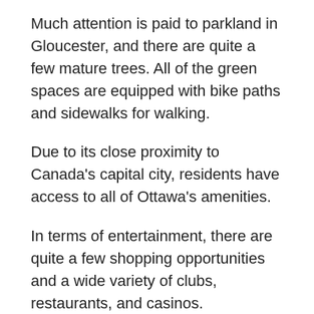Much attention is paid to parkland in Gloucester, and there are quite a few mature trees. All of the green spaces are equipped with bike paths and sidewalks for walking.
Due to its close proximity to Canada's capital city, residents have access to all of Ottawa's amenities.
In terms of entertainment, there are quite a few shopping opportunities and a wide variety of clubs, restaurants, and casinos.
The township also hosts an annual Gloucester Fair. Until 1984 it was called the Gloucester Festival of Friends, but today it is better known as the Capital